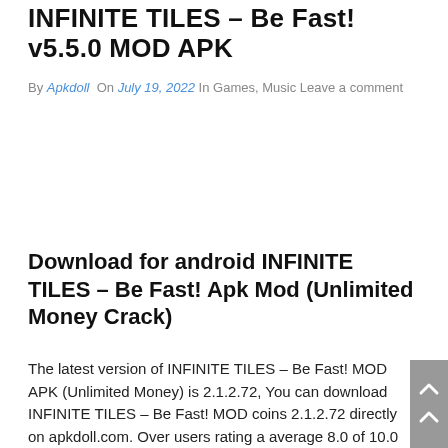INFINITE TILES – Be Fast! v5.5.0 MOD APK
By Apkdoll On July 19, 2022 In Games, Music Leave a comment
Download for android INFINITE TILES – Be Fast! Apk Mod (Unlimited Money Crack)
The latest version of INFINITE TILES – Be Fast! MOD APK (Unlimited Money) is 2.1.2.72, You can download INFINITE TILES – Be Fast! MOD coins 2.1.2.72 directly on apkdoll.com. Over users rating a average 8.0 of 10.0 by 17476 users about INFINITE TILES – Be Fast! MOD Apk download. More than 1,000,000+ is playing this